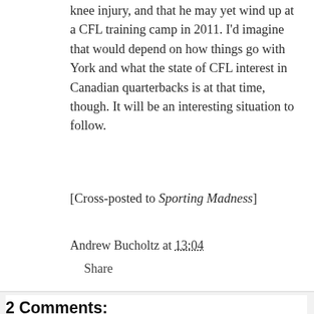knee injury, and that he may yet wind up at a CFL training camp in 2011. I'd imagine that would depend on how things go with York and what the state of CFL interest in Canadian quarterbacks is at that time, though. It will be an interesting situation to follow.
[Cross-posted to Sporting Madness]
Andrew Bucholtz at 13:04
Share
2 Comments:
Rob Pettapiece
6/29/2010 6:13 PM
Like Faulds, [Laflamme is] new to